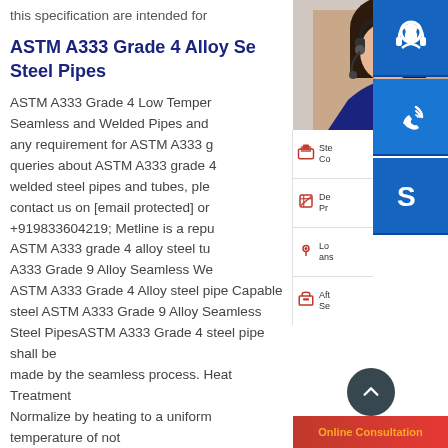this specification are intended for
ASTM A333 Grade 4 Alloy Steel Pipes
ASTM A333 Grade 4 Low Temperature Seamless and Welded Pipes and any requirement for ASTM A333 grade 4 queries about ASTM A333 grade 4 welded steel pipes and tubes, please contact us on [email protected] or +919833604219; Metline is a reputable ASTM A333 grade 4 alloy steel tu A333 Grade 9 Alloy Seamless We ASTM A333 Grade 4 Alloy steel pipe Capable steel ASTM A333 Grade 9 Alloy Seamless Welded Steel PipesASTM A333 Grade 4 steel pipe shall be made by the seamless process. Heat Treatment Normalize by heating to a uniform temperature of not less than 1500°F [815°C] and cool in air or in the cooling chamber of an atmosphere controlled
[Figure (photo): Smiling woman with headset customer service representative]
[Figure (infographic): Sidebar with contact icons: headset (blue), phone (blue), Skype (blue), and menu items for Steel Con, Dee Pro, Log answering, After Ser with red icons and dotted separators. Online Consultation red bar at bottom.]